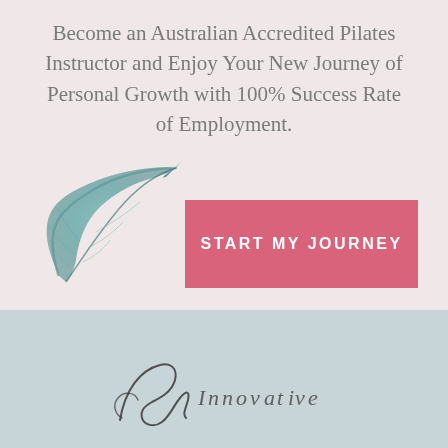Become an Australian Accredited Pilates Instructor and Enjoy Your New Journey of Personal Growth with 100% Success Rate of Employment.
[Figure (illustration): A teal/green watercolour feather illustration, curving upward to the right]
START MY JOURNEY
[Figure (logo): A cursive signature/logo mark in dark ink, partially visible at the bottom of the page]